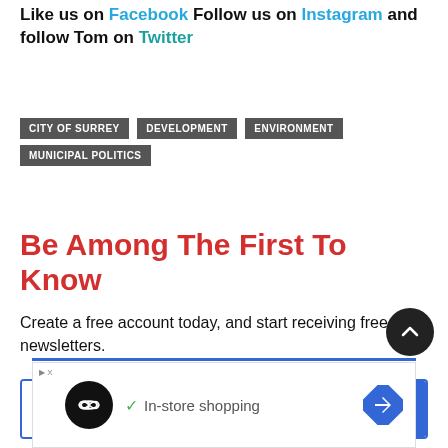Like us on Facebook Follow us on Instagram and follow Tom on Twitter
CITY OF SURREY
DEVELOPMENT
ENVIRONMENT
MUNICIPAL POLITICS
Be Among The First To Know
Create a free account today, and start receiving free newsletters.
[Figure (other): Sign Up with Google button with Google logo icon]
[Figure (other): Advertisement banner with logo and In-store shopping text]